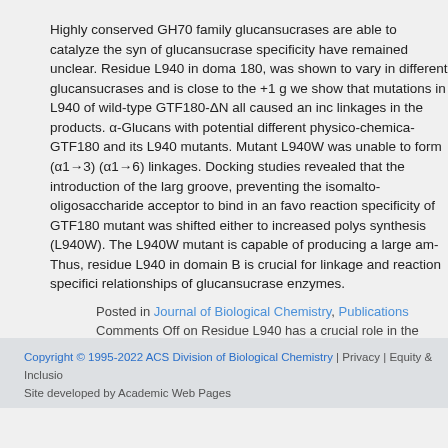Highly conserved GH70 family glucansucrases are able to catalyze the synthesis of glucansucrase specificity have remained unclear. Residue L940 in domain 180, was shown to vary in different glucansucrases and is close to the +1 g we show that mutations in L940 of wild-type GTF180-ΔN all caused an increase linkages in the products. α-Glucans with potential different physico-chemical GTF180 and its L940 mutants. Mutant L940W was unable to form (α1→3) (α1→6) linkages. Docking studies revealed that the introduction of the large groove, preventing the isomalto-oligosaccharide acceptor to bind in an favorable reaction specificity of GTF180 mutant was shifted either to increased polysaccharide synthesis (L940W). The L940W mutant is capable of producing a large amount. Thus, residue L940 in domain B is crucial for linkage and reaction specificity relationships of glucansucrase enzymes.
Posted in Journal of Biological Chemistry, Publications
Comments Off on Residue L940 has a crucial role in the linkage and re Lactobacillus reuteri 180 [Glycobiology and Extracellular Matrices]
Copyright © 1995-2022 ACS Division of Biological Chemistry | Privacy | Equity & Inclusion Site developed by Academic Web Pages